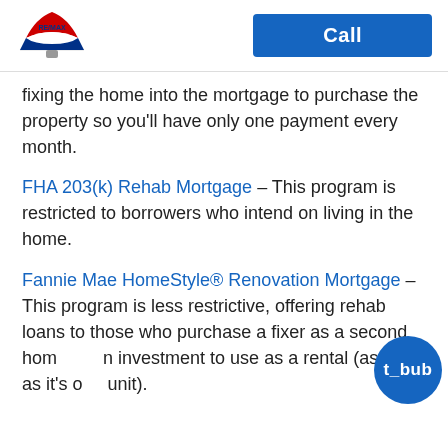RE/MAX | Call
fixing the home into the mortgage to purchase the property so you'll have only one payment every month.
FHA 203(k) Rehab Mortgage – This program is restricted to borrowers who intend on living in the home.
Fannie Mae HomeStyle® Renovation Mortgage – This program is less restrictive, offering rehab loans to those who purchase a fixer as a second home or an investment to use as a rental (as long as it's one unit).